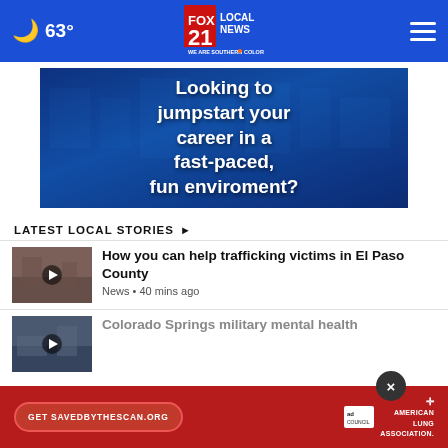🌙 63° — FOX 21 LOCAL NEWS — WE ARE SOUTHERN COLORADO
[Figure (screenshot): Advertisement banner with aerial city photo and text: Looking to jumpstart your career in a fast-paced, fun enviroment?]
LATEST LOCAL STORIES ▸
[Figure (photo): Thumbnail for news story about trafficking victims]
How you can help trafficking victims in El Paso County
News • 40 mins ago
[Figure (photo): Thumbnail for Colorado Springs military mental health story]
Colorado Springs military mental health Academy School District asking to...
[Figure (screenshot): Bottom advertisement: Get SAVEDBYTHESCAN.ORG — Ad Council — American Lung Association]